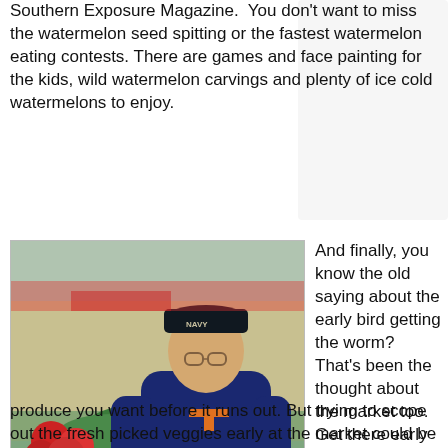Southern Exposure Magazine.  You don't want to miss the watermelon seed spitting or the fastest watermelon eating contests. There are games and face painting for the kids, wild watermelon carvings and plenty of ice cold watermelons to enjoy.
[Figure (photo): An elderly man wearing a Navy cap and Tennessee Volunteers sweatshirt holding vegetables (yellow pepper and red tomato) at what appears to be an outdoor farmers market with produce on display tables.]
Cecil's Tomatoes from Pocahontas Creek Farms
And finally, you know the old saying about the early bird getting the worm? That's been the thought about the market too. Get there early to make sure you get the best of the farm fresh produce you want before it runs out. But trying to scope out the fresh picked veggies early at the market could be